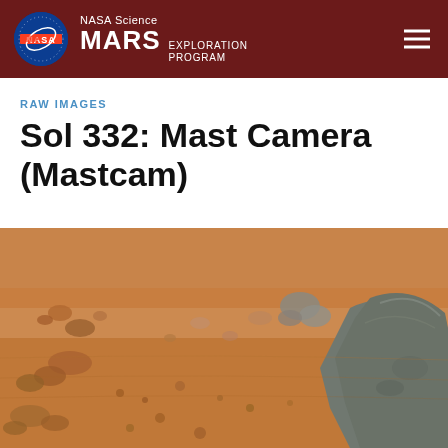NASA Science MARS EXPLORATION PROGRAM
RAW IMAGES
Sol 332: Mast Camera (Mastcam)
[Figure (photo): Mars surface raw image from Mastcam on Sol 332, showing reddish-orange sandy terrain with scattered rocks and pebbles, with a larger grayish rock formation on the right side.]